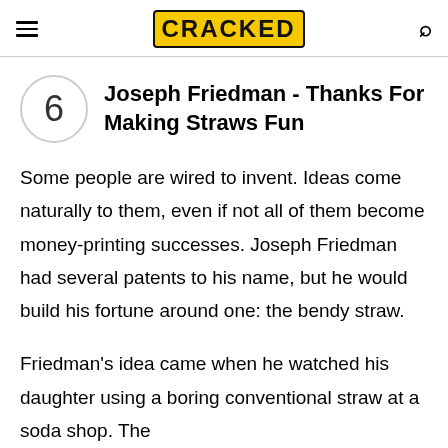CRACKED
6 Joseph Friedman - Thanks For Making Straws Fun
Some people are wired to invent. Ideas come naturally to them, even if not all of them become money-printing successes. Joseph Friedman had several patents to his name, but he would build his fortune around one: the bendy straw.
Friedman's idea came when he watched his daughter using a boring conventional straw at a soda shop. The